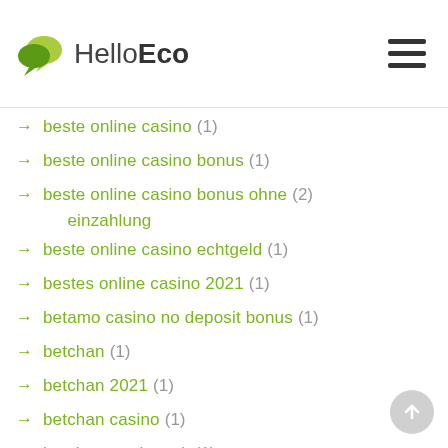HelloEco
→ beste online casino (1)
→ beste online casino bonus (1)
→ beste online casino bonus ohne einzahlung (2)
→ beste online casino echtgeld (1)
→ bestes online casino 2021 (1)
→ betamo casino no deposit bonus (1)
→ betchan (1)
→ betchan 2021 (1)
→ betchan casino (1)
→ betchan no deposit (1)
→ bez depozytu (2)
→ big valley financial payday loans (1)